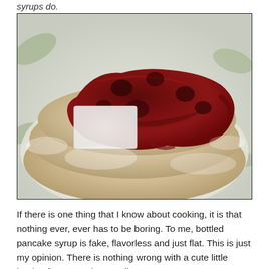syrups do.
[Figure (photo): A stack of pancakes dusted with powdered sugar and topped with a generous amount of dark berry jam/compote, served on a white plate with a floral pattern visible underneath.]
If there is one thing that I know about cooking, it is that nothing ever, ever has to be boring. To me, bottled pancake syrup is fake, flavorless and just flat. This is just my opinion. There is nothing wrong with a cute little bottle of Aunt Jemima, really.